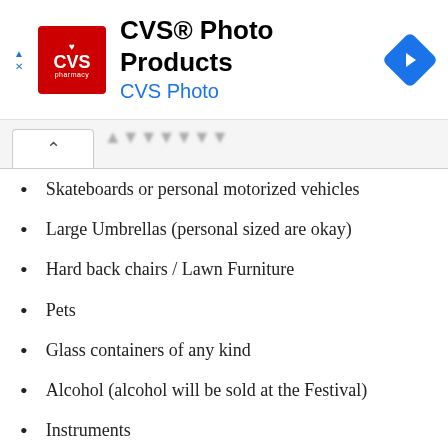[Figure (logo): CVS Photo Products advertisement banner with CVS Pharmacy red logo, title 'CVS® Photo Products', subtitle 'CVS Photo', and a blue navigation diamond icon]
Skateboards or personal motorized vehicles
Large Umbrellas (personal sized are okay)
Hard back chairs / Lawn Furniture
Pets
Glass containers of any kind
Alcohol (alcohol will be sold at the Festival)
Instruments
Chains/Chain Wallets